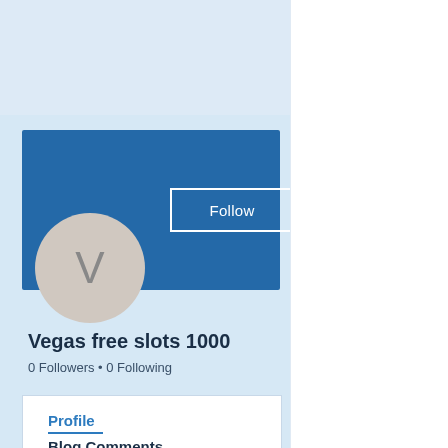About
Vegas free s
Vegas free slots 1000
[Figure (screenshot): User profile page screenshot showing a social/blog platform. Left panel has a blue banner with a Follow button and three-dot menu, a circular avatar with letter V, username 'Vegas free slots 1000', '0 Followers • 0 Following', and a Profile/Blog Comments tab card. Right panel shows 'About', 'Vegas free s' heading, a link 'Vegas free slots 1000', and a blurred dark green image.]
Vegas free slots 1000
0 Followers • 0 Following
Profile
Blog Comments